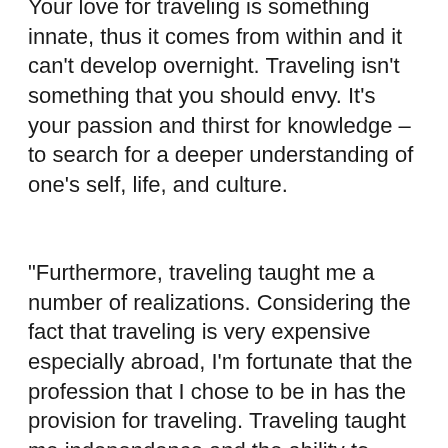Your love for traveling is something innate, thus it comes from within and it can't develop overnight. Traveling isn't something that you should envy. It's your passion and thirst for knowledge – to search for a deeper understanding of one's self, life, and culture.
"Furthermore, traveling taught me a number of realizations. Considering the fact that traveling is very expensive especially abroad, I'm fortunate that the profession that I chose to be in has the provision for traveling. Traveling taught me independence and the ability to recognize the diversity of the world and its people. It also made me understand that we're living in a